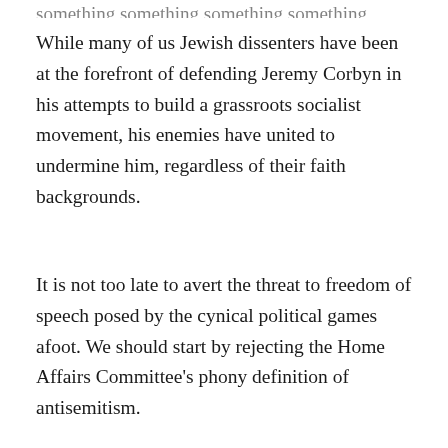While many of us Jewish dissenters have been at the forefront of defending Jeremy Corbyn in his attempts to build a grassroots socialist movement, his enemies have united to undermine him, regardless of their faith backgrounds.
It is not too late to avert the threat to freedom of speech posed by the cynical political games afoot. We should start by rejecting the Home Affairs Committee's phony definition of antisemitism.